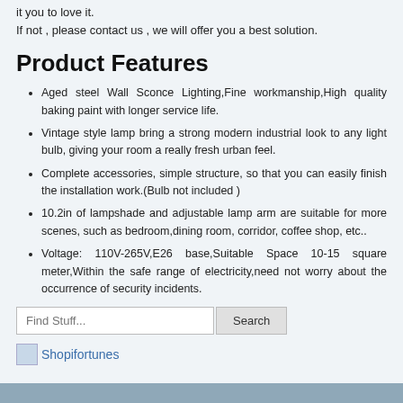it you to love it.
If not , please contact us , we will offer you a best solution.
Product Features
Aged steel Wall Sconce Lighting,Fine workmanship,High quality baking paint with longer service life.
Vintage style lamp bring a strong modern industrial look to any light bulb, giving your room a really fresh urban feel.
Complete accessories, simple structure, so that you can easily finish the installation work.(Bulb not included )
10.2in of lampshade and adjustable lamp arm are suitable for more scenes, such as bedroom,dining room, corridor, coffee shop, etc..
Voltage: 110V-265V,E26 base,Suitable Space 10-15 square meter,Within the safe range of electricity,need not worry about the occurrence of security incidents.
Find Stuff... [Search]
[Figure (logo): Shopifortunes logo image and text link]